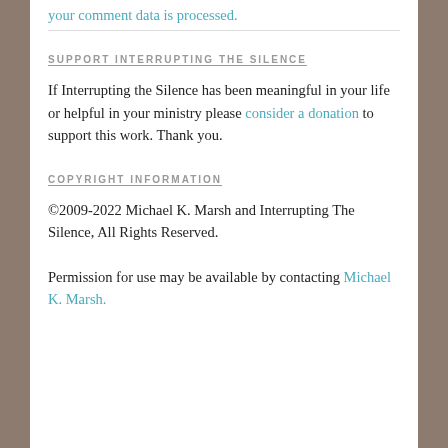your comment data is processed.
SUPPORT INTERRUPTING THE SILENCE
If Interrupting the Silence has been meaningful in your life or helpful in your ministry please consider a donation to support this work. Thank you.
COPYRIGHT INFORMATION
©2009-2022 Michael K. Marsh and Interrupting The Silence, All Rights Reserved.
Permission for use may be available by contacting Michael K. Marsh.